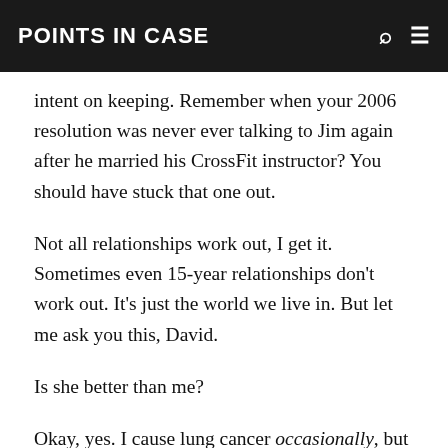POINTS IN CASE
intent on keeping. Remember when your 2006 resolution was never ever talking to Jim again after he married his CrossFit instructor? You should have stuck that one out.
Not all relationships work out, I get it. Sometimes even 15-year relationships don’t work out. It’s just the world we live in. But let me ask you this, David.
Is she better than me?
Okay, yes. I cause lung cancer occasionally, but you’ve known that from the beginning. You told me it never bothered you, hell you said it excited you! Until vape